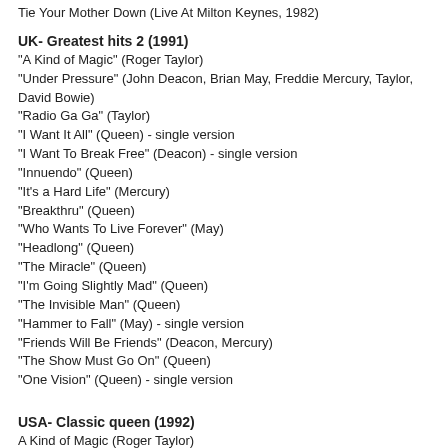Tie Your Mother Down (Live At Milton Keynes, 1982)
UK- Greatest hits 2 (1991)
"A Kind of Magic" (Roger Taylor)
"Under Pressure" (John Deacon, Brian May, Freddie Mercury, Taylor, David Bowie)
"Radio Ga Ga" (Taylor)
"I Want It All" (Queen) - single version
"I Want To Break Free" (Deacon) - single version
"Innuendo" (Queen)
"It's a Hard Life" (Mercury)
"Breakthru" (Queen)
"Who Wants To Live Forever" (May)
"Headlong" (Queen)
"The Miracle" (Queen)
"I'm Going Slightly Mad" (Queen)
"The Invisible Man" (Queen)
"Hammer to Fall" (May) - single version
"Friends Will Be Friends" (Deacon, Mercury)
"The Show Must Go On" (Queen)
"One Vision" (Queen) - single version
USA- Classic queen (1992)
A Kind of Magic (Roger Taylor)
Bohemian Rhapsody (Freddie Mercury)
Under Pressure (Queen, David Bowie)
Hammer to Fall (Brian May)
Stone Cold Crazy (John Deacon, Brian May, Freddie Mercury, Roger Taylor)